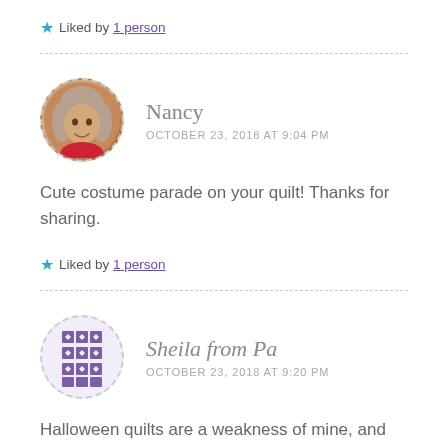★ Liked by 1 person
Nancy
OCTOBER 23, 2018 AT 9:04 PM
Cute costume parade on your quilt! Thanks for sharing.
★ Liked by 1 person
Sheila from Pa
OCTOBER 23, 2018 AT 9:20 PM
Halloween quilts are a weakness of mine, and yours was